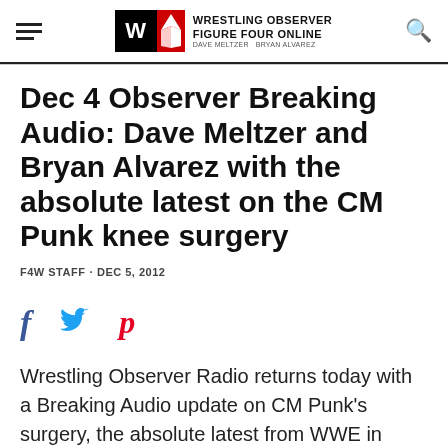Wrestling Observer Figure Four Online - Dave Meltzer - Bryan Alvarez
Dec 4 Observer Breaking Audio: Dave Meltzer and Bryan Alvarez with the absolute latest on the CM Punk knee surgery
F4W STAFF · DEC 5, 2012
[Figure (infographic): Social sharing icons: Facebook (f), Twitter (bird), Pinterest (p)]
Wrestling Observer Radio returns today with a Breaking Audio update on CM Punk's surgery, the absolute latest from WWE in terms of how to address it, and more.